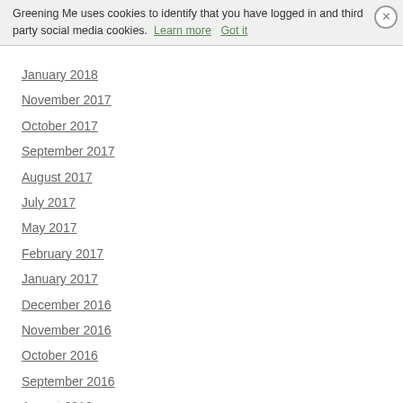Greening Me uses cookies to identify that you have logged in and third party social media cookies. Learn more  Got it
January 2018
November 2017
October 2017
September 2017
August 2017
July 2017
May 2017
February 2017
January 2017
December 2016
November 2016
October 2016
September 2016
August 2016
April 2016
March 2016
January 2013